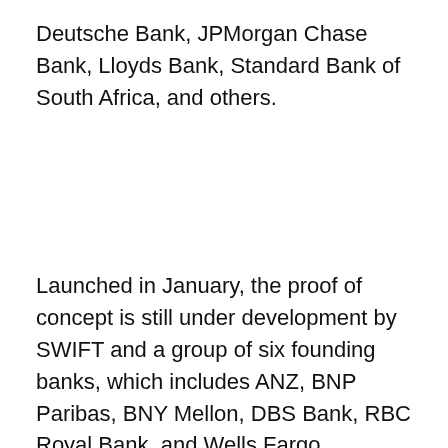Deutsche Bank, JPMorgan Chase Bank, Lloyds Bank, Standard Bank of South Africa, and others.
Launched in January, the proof of concept is still under development by SWIFT and a group of six founding banks, which includes ANZ, BNP Paribas, BNY Mellon, DBS Bank, RBC Royal Bank, and Wells Fargo.